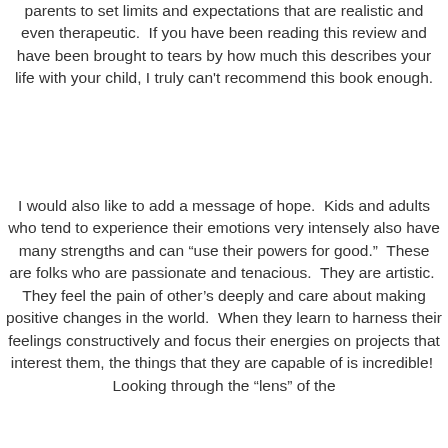parents to set limits and expectations that are realistic and even therapeutic.  If you have been reading this review and have been brought to tears by how much this describes your life with your child, I truly can't recommend this book enough.
I would also like to add a message of hope.  Kids and adults who tend to experience their emotions very intensely also have many strengths and can “use their powers for good.”  These are folks who are passionate and tenacious.  They are artistic.  They feel the pain of other’s deeply and care about making positive changes in the world.  When they learn to harness their feelings constructively and focus their energies on projects that interest them, the things that they are capable of is incredible!  Looking through the “lens” of the